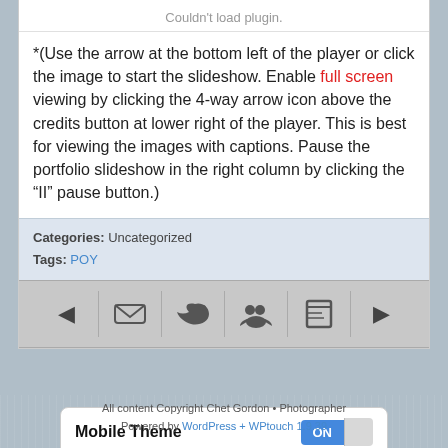Couldn't load plugin.
*(Use the arrow at the bottom left of the player or click the image to start the slideshow. Enable full screen viewing by clicking the 4-way arrow icon above the credits button at lower right of the player. This is best for viewing the images with captions. Pause the portfolio slideshow in the right column by clicking the “II” pause button.)
Categories: Uncategorized
Tags: POY
[Figure (screenshot): Navigation bar with back arrow, email icon, bird/twitter icon, group icon, bookmarks icon, and forward arrow]
[Figure (screenshot): Mobile Theme toggle switch showing ON state]
All content Copyright Chet Gordon • Photographer
Powered by WordPress + WPtouch 1.9.39